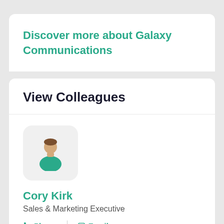Discover more about Galaxy Communications
View Colleagues
[Figure (illustration): User avatar icon: person with brown hair and teal shirt on light gray rounded square background]
Cory Kirk
Sales & Marketing Executive
Phone  Email